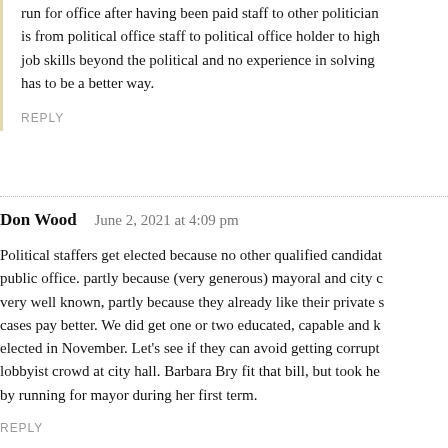run for office after having been paid staff to other politicians is from political office staff to political office holder to high job skills beyond the political and no experience in solving has to be a better way.
REPLY
Don Wood   June 2, 2021 at 4:09 pm
Political staffers get elected because no other qualified candidates public office. partly because (very generous) mayoral and city c very well known, partly because they already like their private s cases pay better. We did get one or two educated, capable and k elected in November. Let’s see if they can avoid getting corrupt lobbyist crowd at city hall. Barbara Bry fit that bill, but took he by running for mayor during her first term.
REPLY